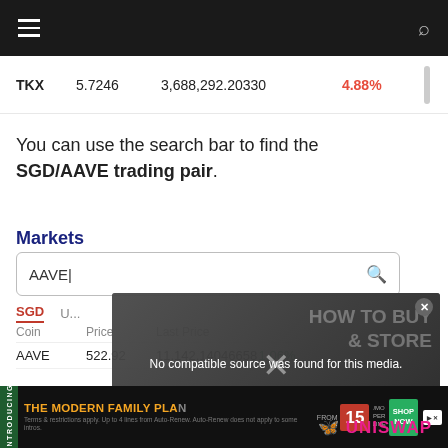Navigation bar with hamburger menu and search icon
|  | Price | Volume | Change |
| --- | --- | --- | --- |
| TKX | 5.7246 | 3,688,292.20330 | 4.88% |
You can use the search bar to find the SGD/AAVE trading pair.
Markets
[Figure (screenshot): Search box with text 'AAVE' and a search icon]
SGD  | (tab row)
| Coin | Price | Last Price |  |
| --- | --- | --- | --- |
| AAVE | 522.92 | 11,142.14046658 | 1.06% |
[Figure (screenshot): Video overlay showing 'No compatible source was found for this media.' with HOW TO BUY & STORE and UNISWAP branding]
INTRODUCING | THE MODERN FAMILY PLAN | FROM $15 PER LINE | SHOP NOW